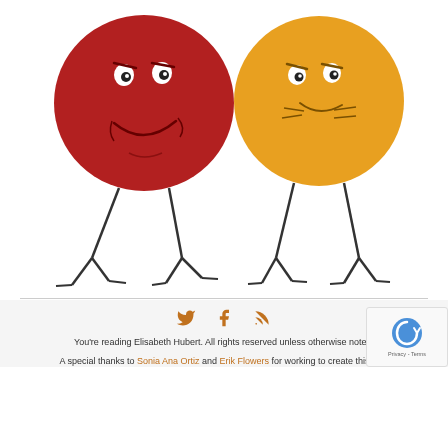[Figure (illustration): Two cartoon round characters with legs: a red one on the left with an angry/smug expression, and a yellow/orange one on the right with a similar grumpy expression. Both have stick-like legs.]
You're reading Elisabeth Hubert. All rights reserved unless otherwise noted.
A special thanks to Sonia Ana Ortiz and Erik Flowers for working to create this site.